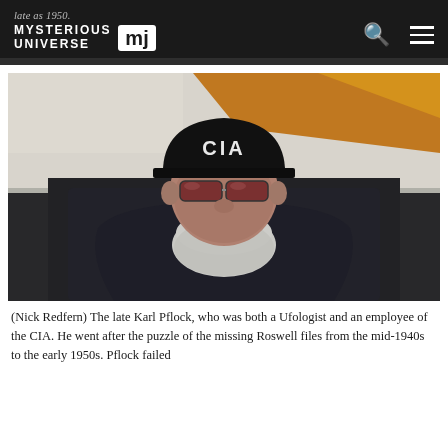late as 1950. MYSTERIOUS UNIVERSE MJ
[Figure (photo): A man wearing a black CIA cap and dark tinted sunglasses with a white/grey beard, wearing a dark patterned shirt. Behind him is an orange/yellow flag and a light-colored wall. Photo credit: Nick Redfern.]
(Nick Redfern) The late Karl Pflock, who was both a Ufologist and an employee of the CIA. He went after the puzzle of the missing Roswell files from the mid-1940s to the early 1950s. Pflock failed